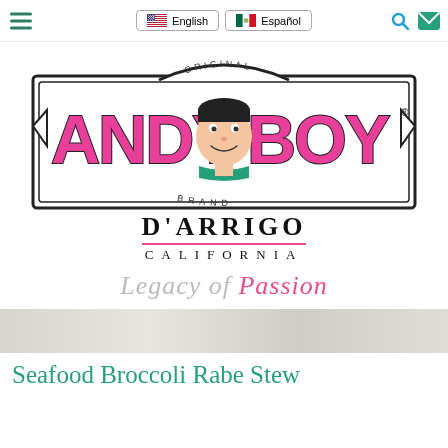English | Español
[Figure (logo): Andy Boy Original Brand logo featuring pink bold text 'ANDY BOY' with a cartoon boy mascot in the center, inside a bordered badge shape. Below reads 'D'ARRIGO CALIFORNIA' in serif text.]
Legacy of Passion
Seafood Broccoli Rabe Stew